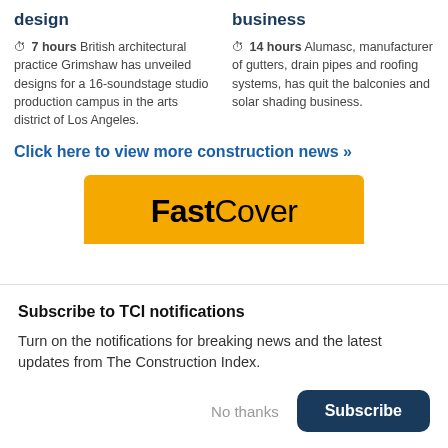design
business
⊙ 7 hours British architectural practice Grimshaw has unveiled designs for a 16-soundstage studio production campus in the arts district of Los Angeles.
⊙ 14 hours Alumasc, manufacturer of gutters, drain pipes and roofing systems, has quit the balconies and solar shading business.
Click here to view more construction news »
[Figure (logo): FastCover logo on yellow/amber background banner]
Subscribe to TCI notifications
Turn on the notifications for breaking news and the latest updates from The Construction Index.
No thanks
Subscribe